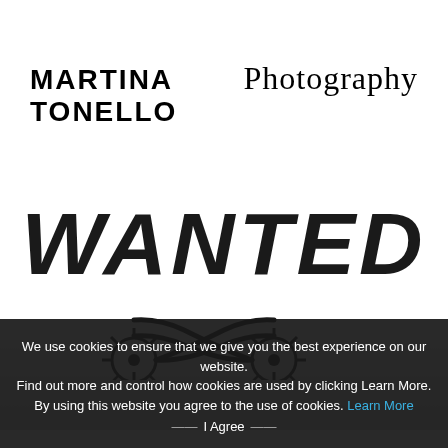MARTINA TONELLO Photography
[Figure (illustration): WANTED text in large bold italic font with two decorative western spurs below it]
We use cookies to ensure that we give you the best experience on our website.
Find out more and control how cookies are used by clicking Learn More.
By using this website you agree to the use of cookies. Learn More
I Agree